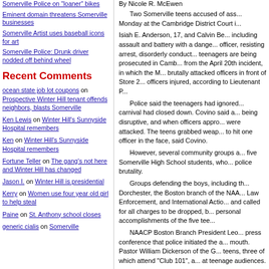Somerville Police on "loaner" bikes
Eminent domain threatens Somerville businesses
Somerville Artist uses baseball icons for art
Somerville Police: Drunk driver nodded off behind wheel
Recent Comments
ocean state job lot coupons on Prospective Winter Hill tenant offends neighbors, blasts Somerville
Ken Lewis on Winter Hill's Sunnyside Hospital remembers
Ken on Winter Hill's Sunnyside Hospital remembers
Fortune Teller on The gang's not here and Winter Hill has changed
Jason I. on Winter Hill is presidential
Kerry on Women use four year old girl to help steal
Paine on St. Anthony school closes
generic cialis on Somerville
By Nicole R. McEwen
Two Somerville teens accused of ass... Monday at the Cambridge District Court i... Isiah E. Anderson, 17, and Calvin Be... including assault and battery with a dange... officer, resisting arrest, disorderly conduct... teenagers are being prosecuted in Camb... from the April 20th incident, in which the N... brutally attacked officers in front of Store 2... officers injured, according to Lieutenant P...
Police said the teenagers had ignored... carnival had closed down. Covino said a... being disruptive, and when officers appro... were attacked. The teens grabbed weap... to hit one officer in the face, said Covino.
However, several community groups a... five Somerville High School students, who... police brutality.
Groups defending the boys, including th... Dorchester, the Boston branch of the NAA... Law Enforcement, and International Actio... and called for all charges to be dropped, b... personal accomplishments of the five tee...
NAACP Boston Branch President Leo... press conference that police initiated the a... mouth. Pastor William Dickerson of the G... teens, three of which attend "Club 101", a... at teenage audiences.
Dickerson and other activist's said they ar... b... "We don't... b... finding...